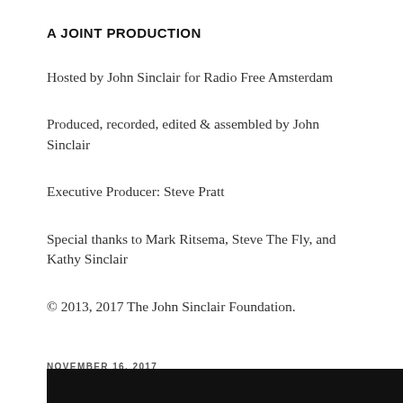A JOINT PRODUCTION
Hosted by John Sinclair for Radio Free Amsterdam
Produced, recorded, edited & assembled by John Sinclair
Executive Producer: Steve Pratt
Special thanks to Mark Ritsema, Steve The Fly, and Kathy Sinclair
© 2013, 2017 The John Sinclair Foundation.
NOVEMBER 16, 2017
Ancestor Worship 68: Attica Blues